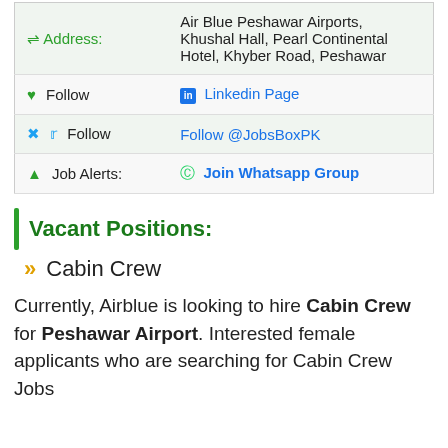| Label | Value |
| --- | --- |
| Address: | Air Blue Peshawar Airports, Khushal Hall, Pearl Continental Hotel, Khyber Road, Peshawar |
| Follow | Linkedin Page |
| Follow | Follow @JobsBoxPK |
| Job Alerts: | Join Whatsapp Group |
Vacant Positions:
Cabin Crew
Currently, Airblue is looking to hire Cabin Crew for Peshawar Airport. Interested female applicants who are searching for Cabin Crew Jobs